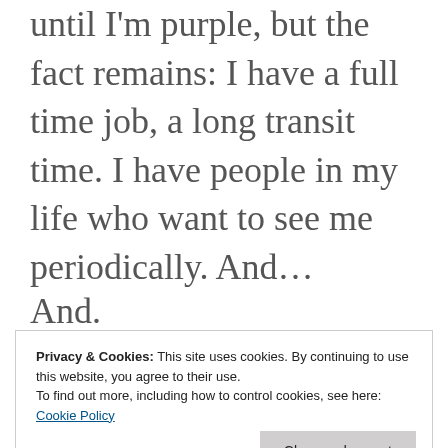until I'm purple, but the fact remains: I have a full time job, a long transit time. I have people in my life who want to see me periodically. And…
And.
Privacy & Cookies: This site uses cookies. By continuing to use this website, you agree to their use.
To find out more, including how to control cookies, see here: Cookie Policy
Close and accept
I HAVE SHIT TO WRITE.